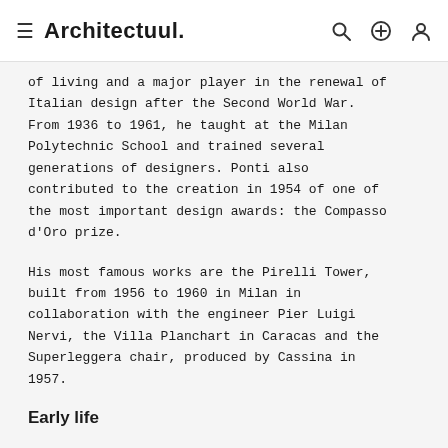Architectuul.
of living and a major player in the renewal of Italian design after the Second World War. From 1936 to 1961, he taught at the Milan Polytechnic School and trained several generations of designers. Ponti also contributed to the creation in 1954 of one of the most important design awards: the Compasso d'Oro prize.
His most famous works are the Pirelli Tower, built from 1956 to 1960 in Milan in collaboration with the engineer Pier Luigi Nervi, the Villa Planchart in Caracas and the Superleggera chair, produced by Cassina in 1957.
Early life